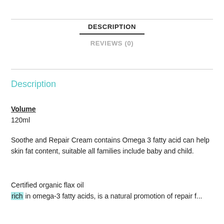DESCRIPTION
REVIEWS (0)
Description
Volume
120ml
Soothe and Repair Cream contains Omega 3 fatty acid can help skin fat content, suitable all families include baby and child.
Certified organic flax oil rich in omega-3 fatty acids, is a natural promotion of repair f...